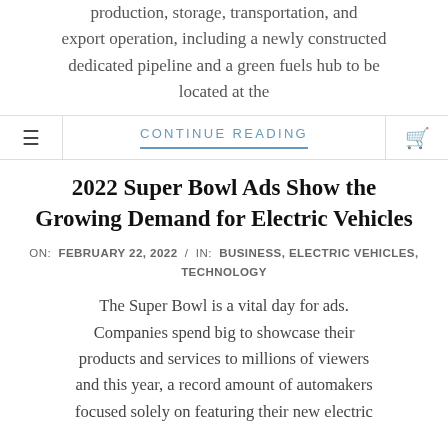production, storage, transportation, and export operation, including a newly constructed dedicated pipeline and a green fuels hub to be located at the
CONTINUE READING
2022 Super Bowl Ads Show the Growing Demand for Electric Vehicles
ON: FEBRUARY 22, 2022 / IN: BUSINESS, ELECTRIC VEHICLES, TECHNOLOGY
The Super Bowl is a vital day for ads. Companies spend big to showcase their products and services to millions of viewers and this year, a record amount of automakers focused solely on featuring their new electric